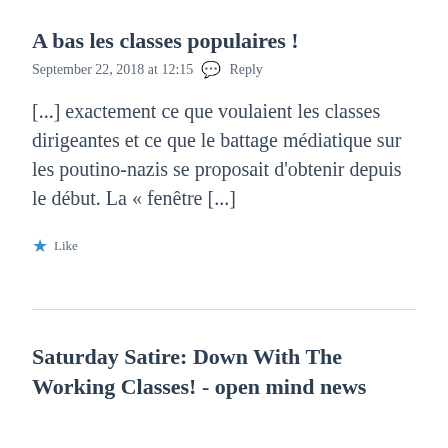A bas les classes populaires !
September 22, 2018 at 12:15   💬 Reply
[...] exactement ce que voulaient les classes dirigeantes et ce que le battage médiatique sur les poutino-nazis se proposait d'obtenir depuis le début. La « fenêtre [...]
★ Like
Saturday Satire: Down With The Working Classes! - open mind news